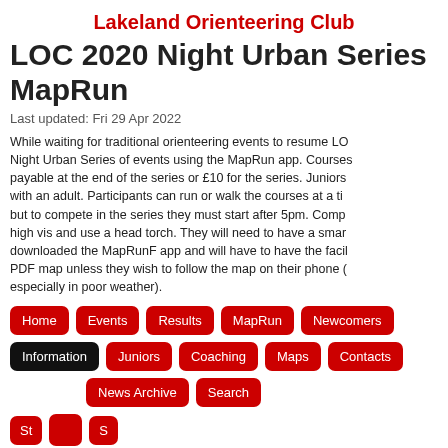Lakeland Orienteering Club
LOC 2020 Night Urban Series MapRun
Last updated: Fri 29 Apr 2022
While waiting for traditional orienteering events to resume LOC ran a Night Urban Series of events using the MapRun app. Courses payable at the end of the series or £10 for the series. Juniors with an adult. Participants can run or walk the courses at a time but to compete in the series they must start after 5pm. Compe high vis and use a head torch. They will need to have a smar downloaded the MapRunF app and will have to have the facil PDF map unless they wish to follow the map on their phone ( especially in poor weather).
Home
Events
Results
MapRun
Newcomers
Information
Juniors
Coaching
Maps
Contacts
News Archive
Search